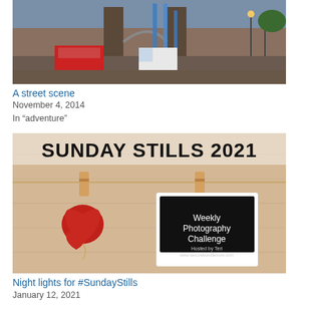[Figure (photo): Street scene photo showing Tower Bridge in London with traffic, buses, vans, and street lamps at dusk]
A street scene
November 4, 2014
In "adventure"
[Figure (photo): Sunday Stills 2021 weekly photography challenge promotional image with knitted red hearts on clothespins on a wooden background, with a polaroid card reading 'Weekly Photography Challenge, Hosted by Teri, www.secondwindleisure.com']
Night lights for #SundayStills
January 12, 2021